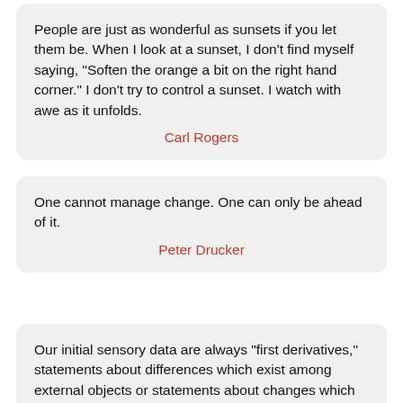People are just as wonderful as sunsets if you let them be. When I look at a sunset, I don't find myself saying, "Soften the orange a bit on the right hand corner." I don't try to control a sunset. I watch with awe as it unfolds.
Carl Rogers
One cannot manage change. One can only be ahead of it.
Peter Drucker
Our initial sensory data are always "first derivatives," statements about differences which exist among external objects or statements about changes which occur either in them or in our relationship to them. Objects and circumstances which remain absolutely constant relative to the observer, unchanged either by